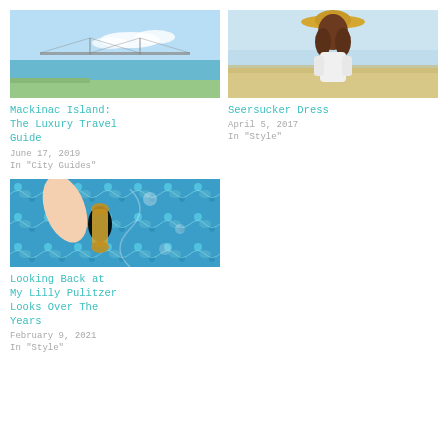[Figure (photo): Aerial or distant view of Mackinac Island bridge over water with blue sky]
Mackinac Island: The Luxury Travel Guide
June 17, 2019
In "City Guides"
[Figure (photo): Young woman from behind wearing a straw sun hat on a beach]
Seersucker Dress
April 5, 2017
In "Style"
[Figure (photo): Close-up of blue and white patterned Lilly Pulitzer fabric with gold ornament]
Looking Back at My Lilly Pulitzer Looks Over The Years
February 9, 2021
In "Style"